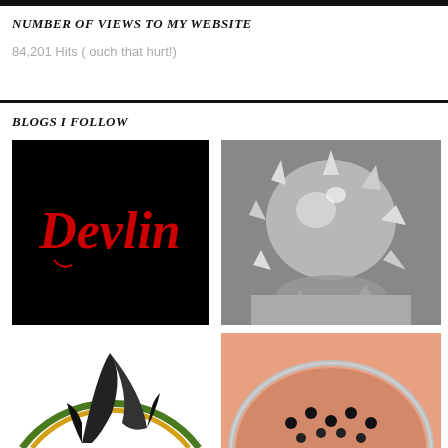NUMBER OF VIEWS TO MY WEBSITE
84,201 Hits ( ouch that hurt!)
BLOGS I FOLLOW
[Figure (logo): Black background with red cursive 'Devlin' logo text]
[Figure (photo): Black and white photo of a spiky crystal or glass sculpture]
[Figure (logo): Partial circular logo with green and yellow/gold arcs and black swoosh design on white background]
[Figure (photo): Partial circular makeup or cosmetics product with peach/orange color and small black spheres]